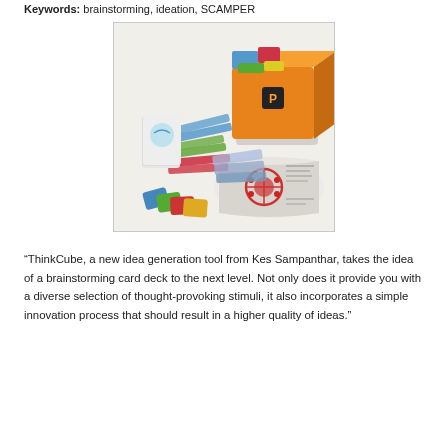Keywords: brainstorming, ideation, SCAMPER
[Figure (photo): ThinkCube product photo showing a colorful card game set with an orange box, multiple colored cards spread out, and an open game booklet with red circular diagram.]
“ThinkCube, a new idea generation tool from Kes Sampanthar, takes the idea of a brainstorming card deck to the next level. Not only does it provide you with a diverse selection of thought-provoking stimuli, it also incorporates a simple innovation process that should result in a higher quality of ideas.”